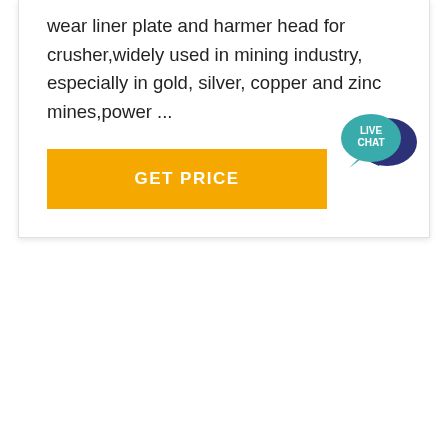wear liner plate and harmer head for crusher,widely used in mining industry, especially in gold, silver, copper and zinc mines,power ...
[Figure (other): GET PRICE button — a rectangular amber/yellow button with bold white text reading 'GET PRICE']
[Figure (other): Live chat speech bubble icon — teal/dark blue overlapping speech bubbles with 'LIVE CHAT' text in white]